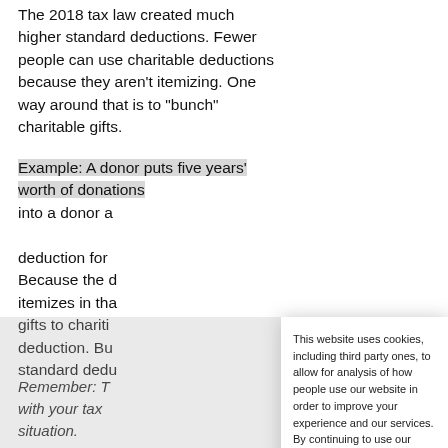The 2018 tax law created much higher standard deductions. Fewer people can use charitable deductions because they aren't itemizing. One way around that is to "bunch" charitable gifts.
Example: A donor puts five years' worth of donations into a donor a… deduction for… Because the d… itemizes in tha… gifts to chariti… deduction. Bu… standard dedu…
Remember: Ta… with your tax … situation.
This website uses cookies, including third party ones, to allow for analysis of how people use our website in order to improve your experience and our services. By continuing to use our website, you agree to the use of such cookies.
I ACCEPT
Privacy Policy